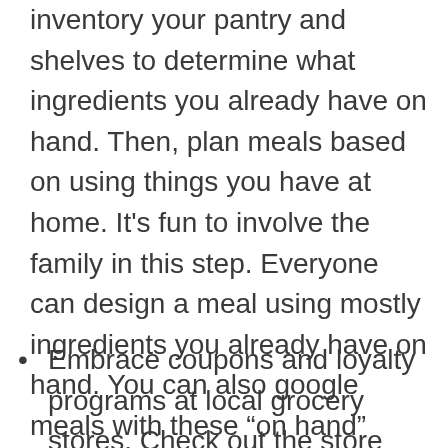inventory your pantry and shelves to determine what ingredients you already have on hand. Then, plan meals based on using things you have at home. It's fun to involve the family in this step. Everyone can design a meal using mostly ingredients you already have on hand. You can also google meals with these "on hand" ingredients or peruse cookbooks for ideas. Planning meals is crucial.
Embrace coupons and loyalty programs at local grocery stores. Check out the store flyers too. If you don't belong to a club, do so—like